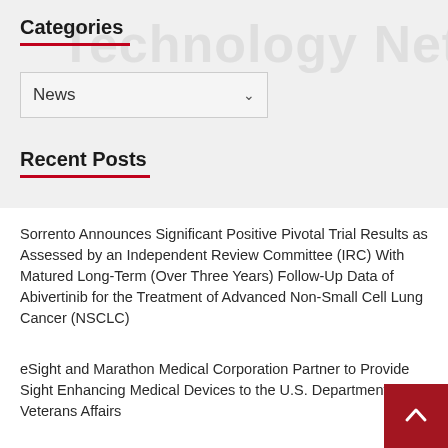Categories
News
Recent Posts
Sorrento Announces Significant Positive Pivotal Trial Results as Assessed by an Independent Review Committee (IRC) With Matured Long-Term (Over Three Years) Follow-Up Data of Abivertinib for the Treatment of Advanced Non-Small Cell Lung Cancer (NSCLC)
eSight and Marathon Medical Corporation Partner to Provide Sight Enhancing Medical Devices to the U.S. Department of Veterans Affairs
Icario Names Bryan Perler Chief Financial and Administrative Officer